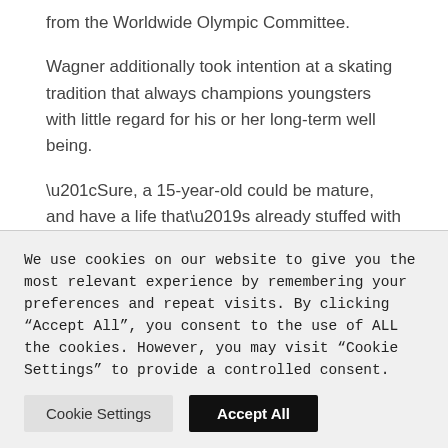from the Worldwide Olympic Committee.
Wagner additionally took intention at a skating tradition that always champions youngsters with little regard for his or her long-term well being.
“Sure, a 15-year-old could be mature, and have a life that’s already stuffed with unimaginable experiences, however nonetheless, she is a child,” Wagner stated. “She’s not the primary child put on this place and he
We use cookies on our website to give you the most relevant experience by remembering your preferences and repeat visits. By clicking “Accept All”, you consent to the use of ALL the cookies. However, you may visit "Cookie Settings" to provide a controlled consent.